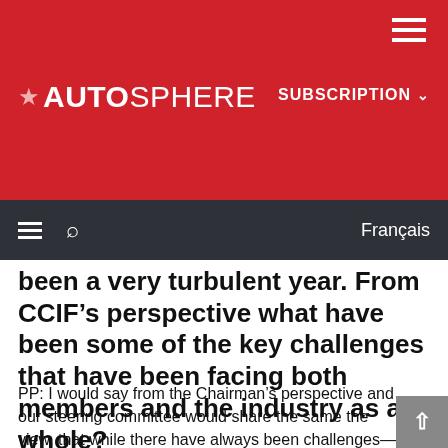AUTOSPHERE — SUBSCRIPTION
been a very turbulent year. From CCIF’s perspective what have been some of the key challenges that have been facing both members and the industry as a whole?
PP: I would say from the Chairman’s perspective and our steering committee would share the same the view, that while there have always been challenges—CCIF, for example, is built around the